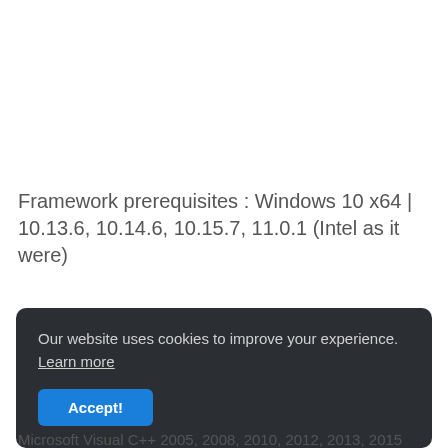Framework prerequisites : Windows 10 x64 | 10.13.6, 10.14.6, 10.15.7, 11.0.1 (Intel as it were)
Our website uses cookies to improve your experience. Learn more
Accept!
Microsoft Visual C++ 2005, 2008, 2010, 2012, 2013, 2015